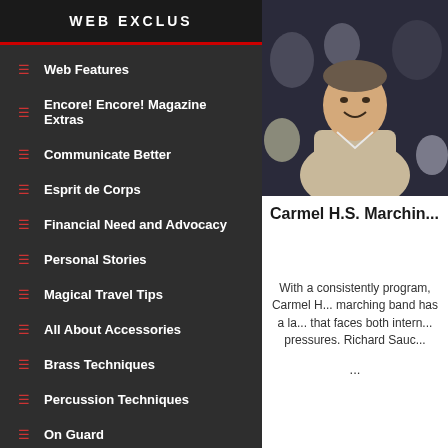WEB EXCLUS...
Web Features
Encore! Encore! Magazine Extras
Communicate Better
Esprit de Corps
Financial Need and Advocacy
Personal Stories
Magical Travel Tips
All About Accessories
Brass Techniques
Percussion Techniques
On Guard
Instructor's Insight
Drum Corps Diary 2010
[Figure (photo): Photo of a man sitting in audience seating, smiling, wearing a beige sweater]
Carmel H.S. Marchin...
With a consistently program, Carmel H... marching band has a la... that faces both intern... pressures. Richard Sauc... ...